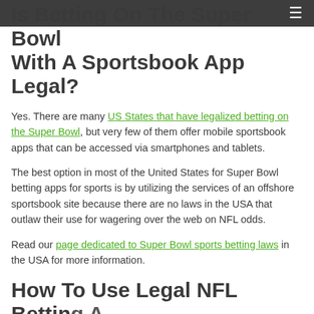≡
Is Betting On The Super Bowl With A Sportsbook App Legal?
Yes. There are many US States that have legalized betting on the Super Bowl, but very few of them offer mobile sportsbook apps that can be accessed via smartphones and tablets.
The best option in most of the United States for Super Bowl betting apps for sports is by utilizing the services of an offshore sportsbook site because there are no laws in the USA that outlaw their use for wagering over the web on NFL odds.
Read our page dedicated to Super Bowl sports betting laws in the USA for more information.
How To Use Legal NFL Betting Apps